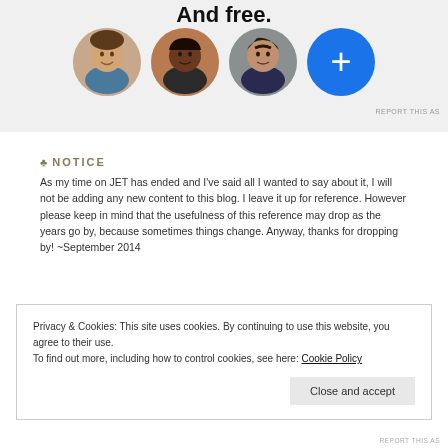And free.
[Figure (illustration): Row of three circular profile photo avatars and a blue circle with a white plus sign, on a gray background banner]
REPORT THIS AS
NOTICE
As my time on JET has ended and I've said all I wanted to say about it, I will not be adding any new content to this blog. I leave it up for reference. However please keep in mind that the usefulness of this reference may drop as the years go by, because sometimes things change. Anyway, thanks for dropping by! ~September 2014
Privacy & Cookies: This site uses cookies. By continuing to use this website, you agree to their use.
To find out more, including how to control cookies, see here: Cookie Policy
Close and accept